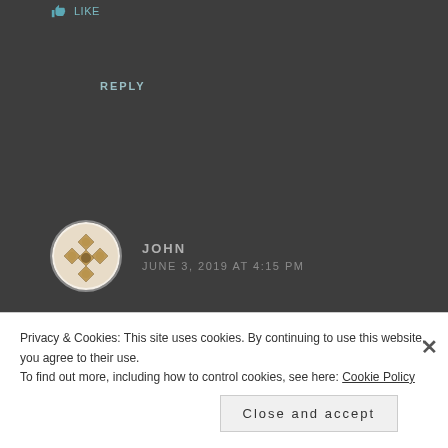Like
REPLY
JOHN
JUNE 3, 2019 AT 4:15 PM
Too many ‘if-thens’. If only he this and that, then this and that. If you don’t like his tactics and you cannot
Privacy & Cookies: This site uses cookies. By continuing to use this website, you agree to their use.
To find out more, including how to control cookies, see here: Cookie Policy
Close and accept